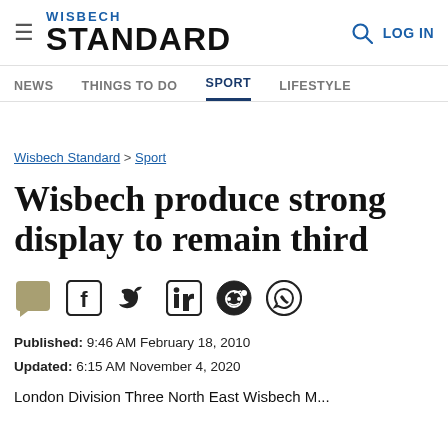WISBECH STANDARD — LOG IN
NEWS  THINGS TO DO  SPORT  LIFESTYLE
Wisbech Standard > Sport
Wisbech produce strong display to remain third
Published: 9:46 AM February 18, 2010
Updated: 6:15 AM November 4, 2020